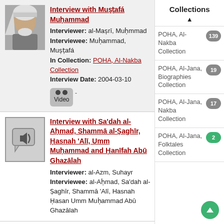[Figure (photo): Photo of an elderly man wearing a keffiyeh]
Interview with Muṣṭafá Muḥammad
Interviewer: al-Maṣrī, Muḥmmad
Interviewee: Muḥammad, Muṣṭafá
In Collection: POHA, Al-Nakba Collection
Interview Date: 2004-03-10
[Figure (other): Video badge icon with two circles and 'Video' label]
[Figure (other): Audio/speaker icon in a chat bubble]
Interview with Sa'dah al-Aḥmad, Shammā al-Ṣaghīr, Ḥasnah 'Alī, Umm Muḥammad and Ḥanīfah Abū Ghazālah
Interviewer: al-Azm, Suhayr
Interviewee: al-Aḥmad, Sa'dah al-Ṣaghīr, Shammā 'Alī, Hasnah Ḥasan Umm Muḥammad Abū Ghazālah
Collections
▲
POHA, Al-Nakba Collection 139
POHA, Al-Jana, Biographies Collection 19
POHA, Al-Jana, Nakba Collection 17
POHA, Al-Jana, Folktales Collection 2